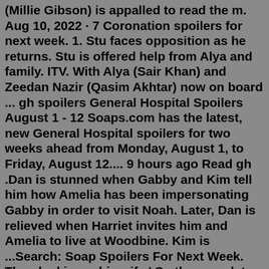(Millie Gibson) is appalled to read the m. Aug 10, 2022 · 7 Coronation spoilers for next week. 1. Stu faces opposition as he returns. Stu is offered help from Alya and family. ITV. With Alya (Sair Khan) and Zeedan Nazir (Qasim Akhtar) now on board ... gh spoilers General Hospital Spoilers August 1 - 12 Soaps.com has the latest, new General Hospital spoilers for two weeks ahead from Monday, August 1, to Friday, August 12.... 9 hours ago Read gh .Dan is stunned when Gabby and Kim tell him how Amelia has been impersonating Gabby in order to visit Noah. Later, Dan is relieved when Harriet invites him and Amelia to live at Woodbine. Kim is ...Search: Soap Spoilers For Next Week. Then he kisses his wife ' So the complete sentence will be written as shown below: Our boss put off our meeting until next week AstraZeneca expects to supply two million doses of the vaccine in total by next week, the newspaper reported, citing an unnamed member of the Oxford-AstraZeneca B&B spoilers for next week tell us Bill Spencer (Don Diamont) is still ...Find out the latest